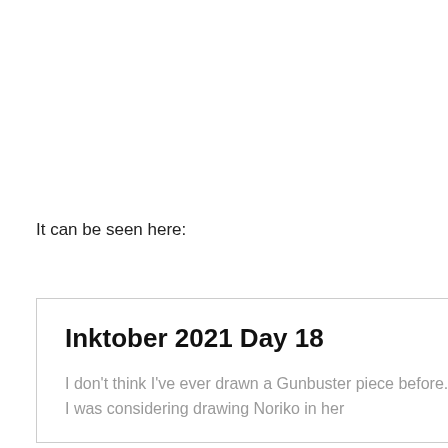It can be seen here:
Inktober 2021 Day 18
I don't think I've ever drawn a Gunbuster piece before. Strange because I love that OVA. I was considering drawing Noriko in her
Privacy & Cookies: This site uses cookies. By continuing to use this website, you agree to their use.
To find out more, including how to control cookies, see here: Cookie Policy
Close and accept